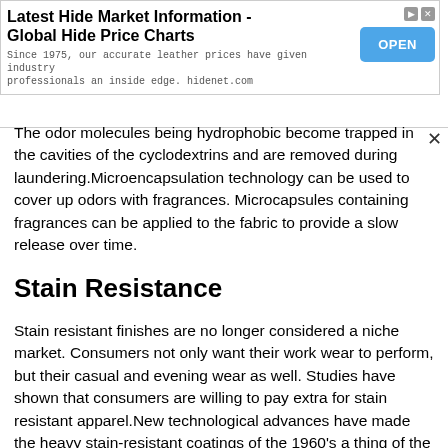[Figure (other): Advertisement banner: Latest Hide Market Information - Global Hide Price Charts. Since 1975, our accurate leather prices have given industry professionals an inside edge. hidenet.com. With an OPEN button.]
The odor molecules being hydrophobic become trapped in the cavities of the cyclodextrins and are removed during laundering.Microencapsulation technology can be used to cover up odors with fragrances. Microcapsules containing fragrances can be applied to the fabric to provide a slow release over time.
Stain Resistance
Stain resistant finishes are no longer considered a niche market. Consumers not only want their work wear to perform, but their casual and evening wear as well. Studies have shown that consumers are willing to pay extra for stain resistant apparel.New technological advances have made the heavy stain-resistant coatings of the 1960's a thing of the past.Traditionally, fluorochemicals have been used to impart stain resistant characteristics to the textile. Fluorochemicals are the only chemicals capable of repelling water, oil and other